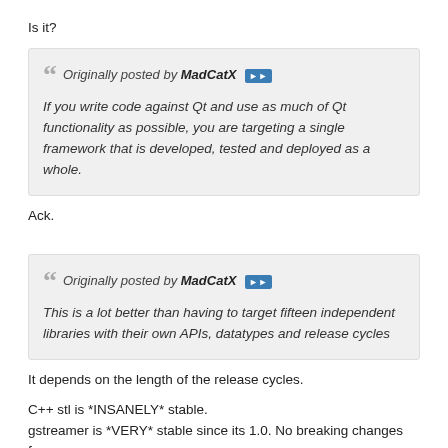Is it?
Originally posted by MadCatX [view post]
If you write code against Qt and use as much of Qt functionality as possible, you are targeting a single framework that is developed, tested and deployed as a whole.
Ack.
Originally posted by MadCatX [view post]
This is a lot better than having to target fifteen independent libraries with their own APIs, datatypes and release cycles
It depends on the length of the release cycles.
C++ stl is *INSANELY* stable.
gstreamer is *VERY* stable since its 1.0. No breaking changes for years.